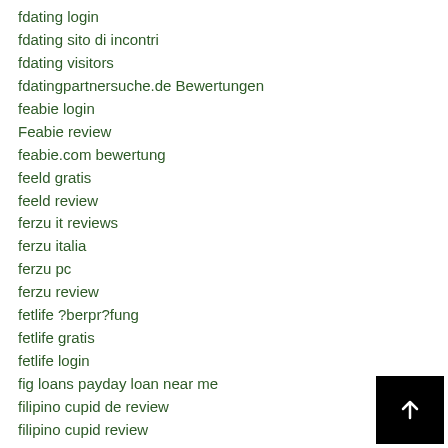fdating login
fdating sito di incontri
fdating visitors
fdatingpartnersuche.de Bewertungen
feabie login
Feabie review
feabie.com bewertung
feeld gratis
feeld review
ferzu it reviews
ferzu italia
ferzu pc
ferzu review
fetlife ?berpr?fung
fetlife gratis
fetlife login
fig loans payday loan near me
filipino cupid de review
filipino cupid review